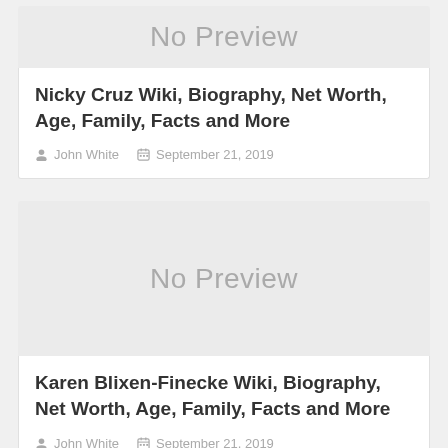[Figure (other): No Preview placeholder image for Nicky Cruz article]
Nicky Cruz Wiki, Biography, Net Worth, Age, Family, Facts and More
John White   September 21, 2019
[Figure (other): No Preview placeholder image for Karen Blixen-Finecke article]
Karen Blixen-Finecke Wiki, Biography, Net Worth, Age, Family, Facts and More
John White   September 21, 2019